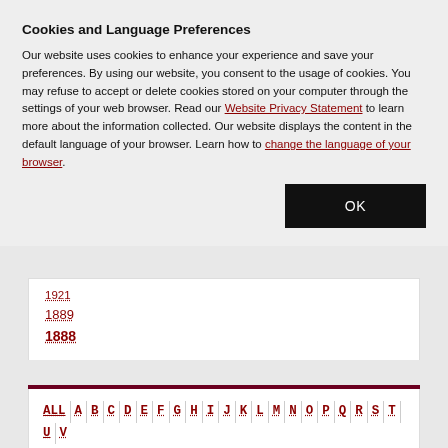Cookies and Language Preferences
Our website uses cookies to enhance your experience and save your preferences. By using our website, you consent to the usage of cookies. You may refuse to accept or delete cookies stored on your computer through the settings of your web browser. Read our Website Privacy Statement to learn more about the information collected. Our website displays the content in the default language of your browser. Learn how to change the language of your browser.
1921
1889
1888
ALL | A | B | C | D | E | F | G | H | I | J | K | L | M | N | O | P | Q | R | S | T | U | V | W | Y | Z